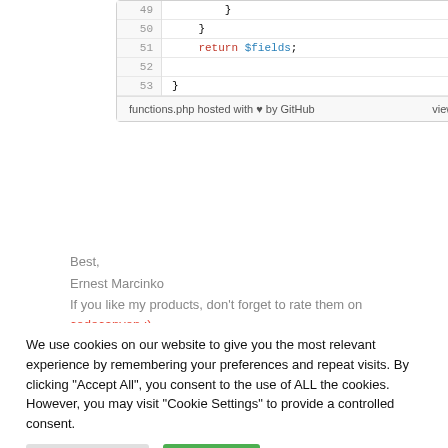[Figure (screenshot): Code snippet showing PHP lines 49-53 with return $fields statement, hosted on GitHub as functions.php with view raw link]
Best,
Ernest Marcinko
If you like my products, don't forget to rate them on codecanyon :)
We use cookies on our website to give you the most relevant experience by remembering your preferences and repeat visits. By clicking "Accept All", you consent to the use of ALL the cookies. However, you may visit "Cookie Settings" to provide a controlled consent.